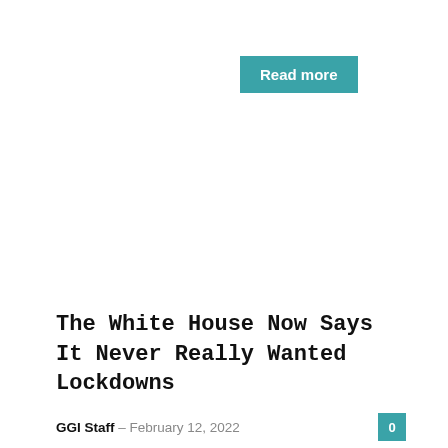[Figure (other): Teal/blue 'Read more' button]
The White House Now Says It Never Really Wanted Lockdowns
GGI Staff - February 12, 2022  0
Last Friday, a reporter asked White House press secretary Jen Psaki to respond to the Johns Hopkins covid study showing lockdowns provided no real